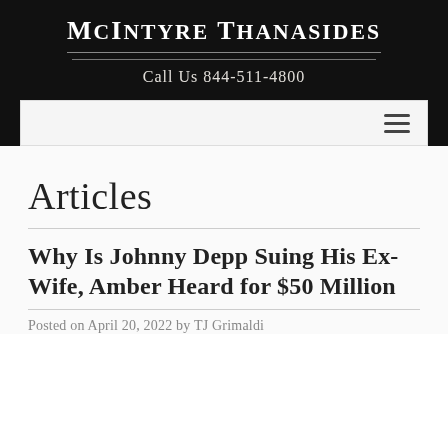McIntyre Thanasides
Call Us 844-511-4800
Articles
Why Is Johnny Depp Suing His Ex-Wife, Amber Heard for $50 Million
Posted on April 20, 2022 by TJ Grimaldi